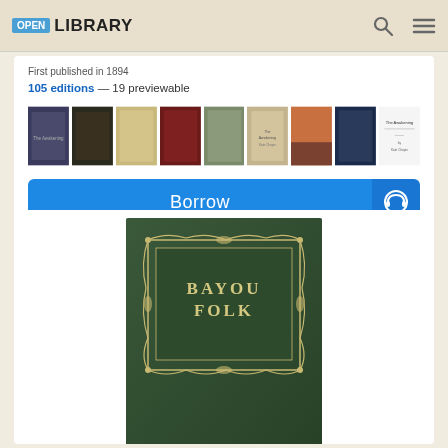OPEN LIBRARY
First published in 1894
105 editions — 19 previewable
[Figure (illustration): Row of book cover thumbnails for various editions]
[Figure (illustration): Borrow button in blue with headphone icon]
[Figure (photo): Photo of the book 'Bayou Folk' — dark green hardcover with gold decorative border and title text]